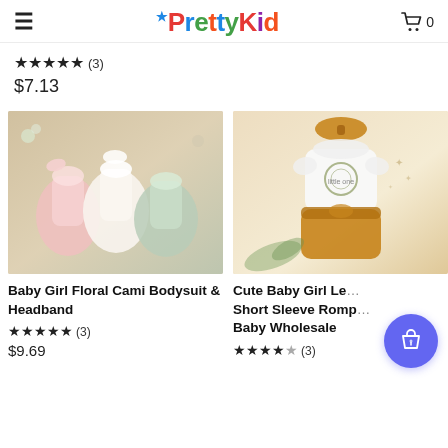PrettyKid
★★★★★ (3)
$7.13
[Figure (photo): Baby Girl Floral Cami Bodysuit & Headband product photo showing three rompers in pink, white, and green floral patterns with headbands on a wooden background]
Baby Girl Floral Cami Bodysuit & Headband
★★★★★ (3)
$9.69
[Figure (photo): Cute Baby Girl Letter Short Sleeve Romper Baby Wholesale product photo showing white bodysuit with gold shorts and mustard bow headband on wooden background]
Cute Baby Girl Le... Short Sleeve Romp... Baby Wholesale
★★★★½ (3)